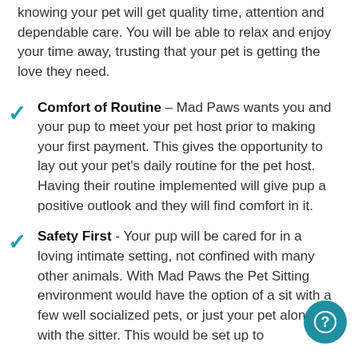knowing your pet will get quality time, attention and dependable care. You will be able to relax and enjoy your time away, trusting that your pet is getting the love they need.
Comfort of Routine – Mad Paws wants you and your pup to meet your pet host prior to making your first payment. This gives the opportunity to lay out your pet's daily routine for the pet host. Having their routine implemented will give pup a positive outlook and they will find comfort in it.
Safety First - Your pup will be cared for in a loving intimate setting, not confined with many other animals. With Mad Paws the Pet Sitting environment would have the option of a sit with a few well socialized pets, or just your pet alone with the sitter. This would be set up to